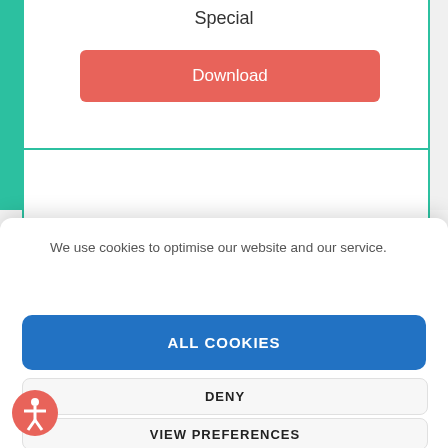Special
[Figure (screenshot): Red Download button]
We use cookies to optimise our website and our service.
ALL COOKIES
DENY
VIEW PREFERENCES
[Figure (logo): Accessibility icon - person in circle]